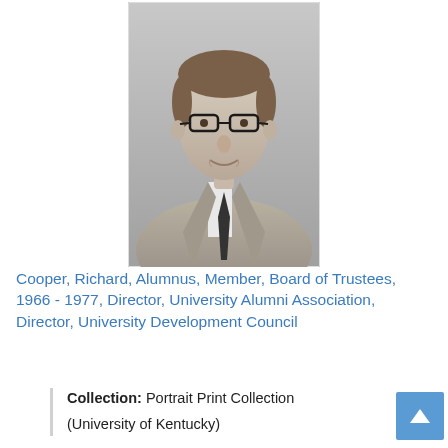[Figure (photo): Black and white portrait photo of Richard Cooper, a young man wearing glasses, a suit jacket, and a dark tie, with short hair, against a plain background.]
Cooper, Richard, Alumnus, Member, Board of Trustees, 1966 - 1977, Director, University Alumni Association, Director, University Development Council
Collection: Portrait Print Collection
(University of Kentucky)